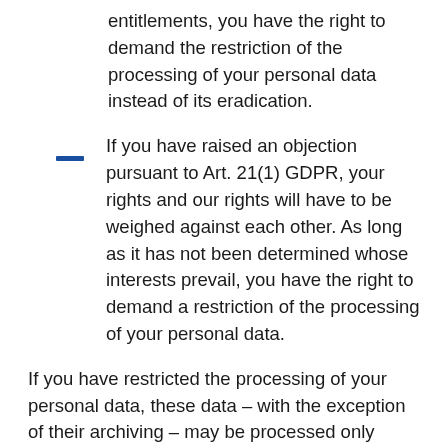entitlements, you have the right to demand the restriction of the processing of your personal data instead of its eradication.
If you have raised an objection pursuant to Art. 21(1) GDPR, your rights and our rights will have to be weighed against each other. As long as it has not been determined whose interests prevail, you have the right to demand a restriction of the processing of your personal data.
If you have restricted the processing of your personal data, these data – with the exception of their archiving – may be processed only subject to your consent or